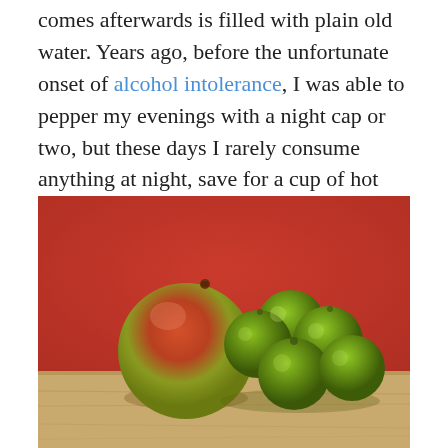comes afterwards is filled with plain old water. Years ago, before the unfortunate onset of alcohol intolerance, I was able to pepper my evenings with a night cap or two, but these days I rarely consume anything at night, save for a cup of hot herbal tea if I am feeling under the weather. Like I said: boring.
[Figure (photo): A mango and five limes arranged on a wooden cutting board against a red background]